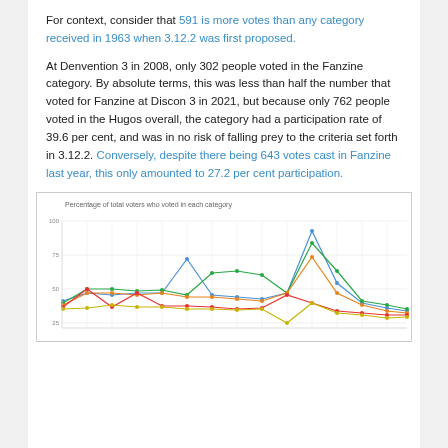For context, consider that 591 is more votes than any category received in 1963 when 3.12.2 was first proposed.
At Denvention 3 in 2008, only 302 people voted in the Fanzine category. By absolute terms, this was less than half the number that voted for Fanzine at Discon 3 in 2021, but because only 762 people voted in the Hugos overall, the category had a participation rate of 39.6 per cent, and was in no risk of falling prey to the criteria set forth in 3.12.2. Conversely, despite there being 643 votes cast in Fanzine last year, this only amounted to 27.2 per cent participation.
[Figure (line-chart): Multi-line chart showing percentage of total voters who voted in each Hugo category over time, with multiple colored lines (blue, green, orange, red, yellow) showing values roughly between 25 and 100 percent, with a notable spike around 75-80% near the right portion of the chart.]